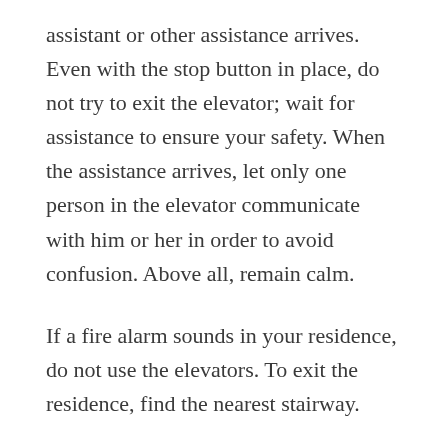assistant or other assistance arrives. Even with the stop button in place, do not try to exit the elevator; wait for assistance to ensure your safety. When the assistance arrives, let only one person in the elevator communicate with him or her in order to avoid confusion. Above all, remain calm.
If a fire alarm sounds in your residence, do not use the elevators. To exit the residence, find the nearest stairway.
Anyone who damages or defaces the residence elevators will be subject to disciplinary action and will be held financially responsible for any damages incurred. Smoking is prohibited by law in elevators.